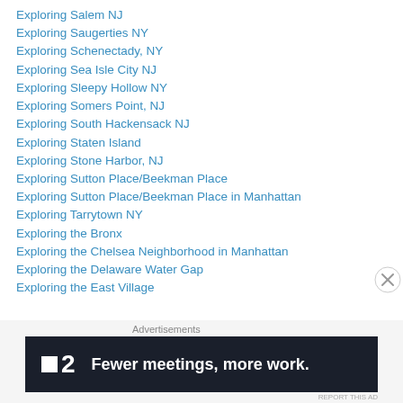Exploring Salem NJ
Exploring Saugerties NY
Exploring Schenectady, NY
Exploring Sea Isle City NJ
Exploring Sleepy Hollow NY
Exploring Somers Point, NJ
Exploring South Hackensack NJ
Exploring Staten Island
Exploring Stone Harbor, NJ
Exploring Sutton Place/Beekman Place
Exploring Sutton Place/Beekman Place in Manhattan
Exploring Tarrytown NY
Exploring the Bronx
Exploring the Chelsea Neighborhood in Manhattan
Exploring the Delaware Water Gap
Exploring the East Village
Advertisements
[Figure (other): Advertisement banner: P2 logo with text 'Fewer meetings, more work.']